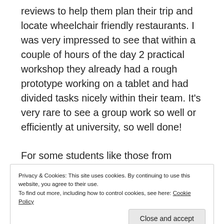reviews to help them plan their trip and locate wheelchair friendly restaurants. I was very impressed to see that within a couple of hours of the day 2 practical workshop they already had a rough prototype working on a tablet and had divided tasks nicely within their team. It's very rare to see a group work so well or efficiently at university, so well done!
For some students like those from Flagstone State Community College, this was also their first opportunity to see a 3D printer in action – and they embraced the technology immediately. You can see their prototype in
Privacy & Cookies: This site uses cookies. By continuing to use this website, you agree to their use.
To find out more, including how to control cookies, see here: Cookie Policy
should the person fall and injure themselves.